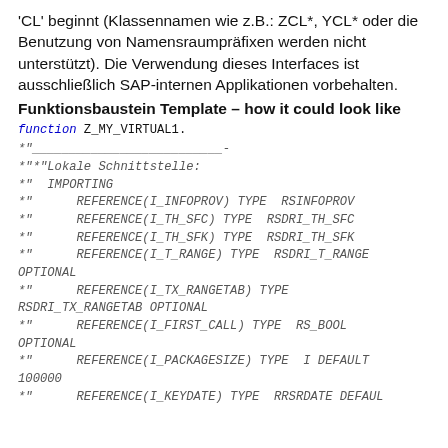'CL' beginnt (Klassennamen wie z.B.: ZCL*, YCL* oder die Benutzung von Namensraumpräfixen werden nicht unterstützt). Die Verwendung dieses Interfaces ist ausschließlich SAP-internen Applikationen vorbehalten.
Funktionsbaustein Template – how it could look like
function Z_MY_VIRTUAL1.
*"__________________________-
*"*"Lokale Schnittstelle:
*"  IMPORTING
*"      REFERENCE(I_INFOPROV) TYPE  RSINFOPROV
*"      REFERENCE(I_TH_SFC) TYPE  RSDRI_TH_SFC
*"      REFERENCE(I_TH_SFK) TYPE  RSDRI_TH_SFK
*"      REFERENCE(I_T_RANGE) TYPE  RSDRI_T_RANGE OPTIONAL
*"      REFERENCE(I_TX_RANGETAB) TYPE  RSDRI_TX_RANGETAB OPTIONAL
*"      REFERENCE(I_FIRST_CALL) TYPE  RS_BOOL OPTIONAL
*"      REFERENCE(I_PACKAGESIZE) TYPE  I DEFAULT 100000
*"      REFERENCE(I_KEYDATE) TYPE  RRSRDATE DEFAULT